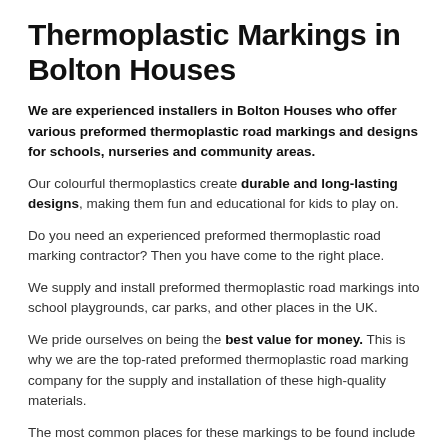Thermoplastic Markings in Bolton Houses
We are experienced installers in Bolton Houses who offer various preformed thermoplastic road markings and designs for schools, nurseries and community areas.
Our colourful thermoplastics create durable and long-lasting designs, making them fun and educational for kids to play on.
Do you need an experienced preformed thermoplastic road marking contractor? Then you have come to the right place.
We supply and install preformed thermoplastic road markings into school playgrounds, car parks, and other places in the UK.
We pride ourselves on being the best value for money. This is why we are the top-rated preformed thermoplastic road marking company for the supply and installation of these high-quality materials.
The most common places for these markings to be found include